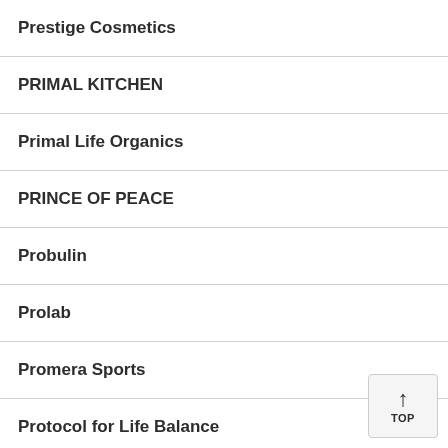Prestige Cosmetics
PRIMAL KITCHEN
Primal Life Organics
PRINCE OF PEACE
Probulin
Prolab
Promera Sports
Protocol for Life Balance